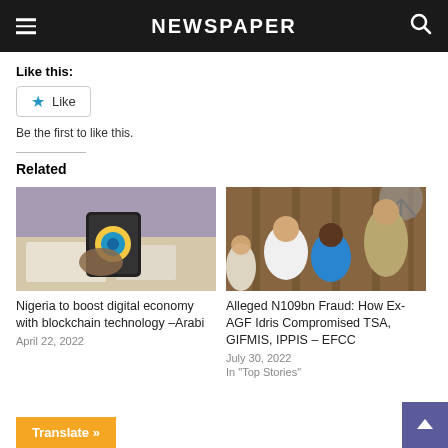NEWSPAPER
Like this:
Like
Be the first to like this.
Related
[Figure (photo): Person using a smartphone at a desk with papers and items around]
Nigeria to boost digital economy with blockchain technology –Arabi
April 22, 2022
[Figure (photo): Group of men seated in what appears to be a courtroom or official setting]
Alleged N109bn Fraud: How Ex-AGF Idris Compromised TSA, GIFMIS, IPPIS – EFCC
July 30, 2022
In "Top Stories"